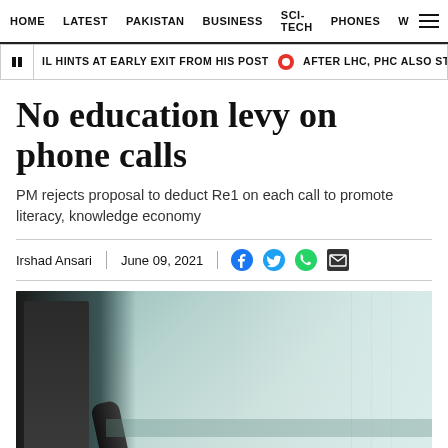HOME  LATEST  PAKISTAN  BUSINESS  SCI-TECH  PHONES  W
IL HINTS AT EARLY EXIT FROM HIS POST  •  AFTER LHC, PHC ALSO STOPS FCA COLL
No education levy on phone calls
PM rejects proposal to deduct Re1 on each call to promote literacy, knowledge economy
Irshad Ansari  |  June 09, 2021
[Figure (photo): Photo of a person near a microphone with blurred office/studio background in muted teal tones]